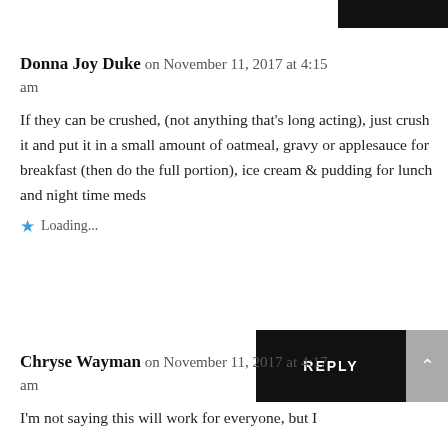Donna Joy Duke on November 11, 2017 at 4:15 am
If they can be crushed, (not anything that's long acting), just crush it and put it in a small amount of oatmeal, gravy or applesauce for breakfast (then do the full portion), ice cream & pudding for lunch and night time meds
Loading...
REPLY
Chryse Wayman on November 11, 2017 at 4:17 am
I'm not saying this will work for everyone, but I